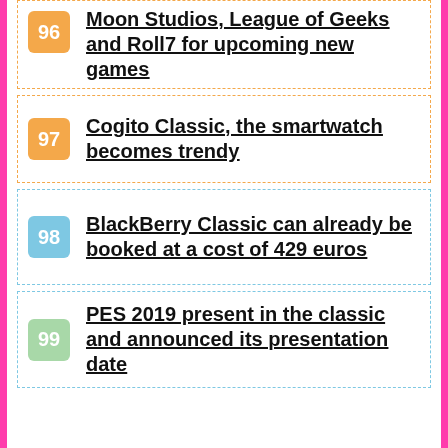96 Moon Studios, League of Geeks and Roll7 for upcoming new games
97 Cogito Classic, the smartwatch becomes trendy
98 BlackBerry Classic can already be booked at a cost of 429 euros
99 PES 2019 present in the classic and announced its presentation date